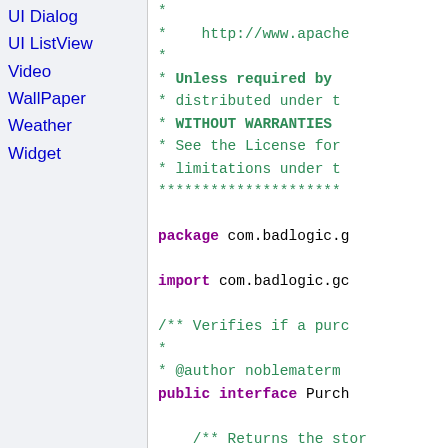UI Dialog
UI ListView
Video
WallPaper
Weather
Widget
*
 * http://www.apache...
 *
 * Unless required by...
 * distributed under t...
 * WITHOUT WARRANTIES...
 * See the License for...
 * limitations under t...
 *********************

package com.badlogic.g...

import com.badlogic.gc...

/** Verifies if a purch...
 *
 * @author noblematerm...
public interface Purch...

    /** Returns the sto...
    public String storeN...

    /** Returns true if...
    public boolean isVal...